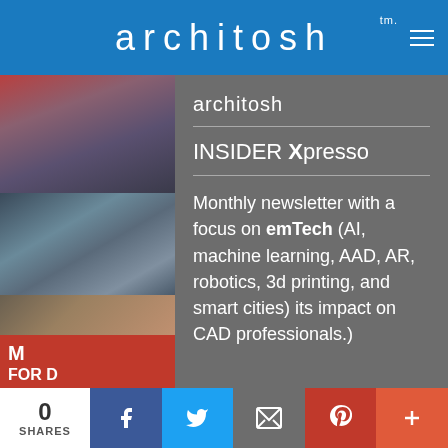architosh tm.
[Figure (photo): Left strip with three stacked photos — top reddish urban scene, middle blue-grey architectural/fabric texture, bottom brownish outdoor scene]
architosh
INSIDER Xpresso
Monthly newsletter with a focus on emTech (AI, machine learning, AAD, AR, robotics, 3d printing, and smart cities) its impact on CAD professionals.)
M
FOR D
0 SHARES | Facebook | Twitter | Email | Pinterest | More